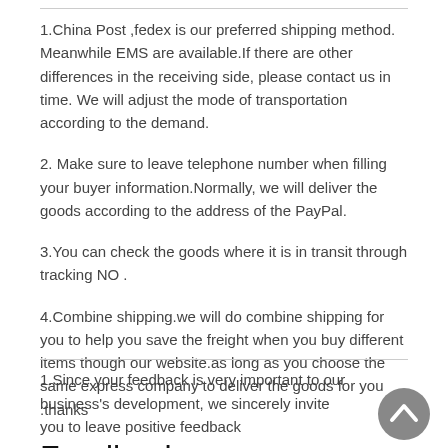1.China Post ,fedex is our preferred shipping method. Meanwhile EMS are available.If there are other differences in the receiving side, please contact us in time. We will adjust the mode of transportation according to the demand.
2. Make sure to leave telephone number when filling your buyer information.Normally, we will deliver the goods according to the address of the PayPal.
3.You can check the goods where it is in transit through tracking NO .
4.Combine shipping.we will do combine shipping for you to help you save the freight when you buy different items though our website.as long as you choose the same express company to deliver the goods for you .thanks
Feedback
1.Since your feedback is very important to our business's development, we sincerely invite you to leave positive feedback